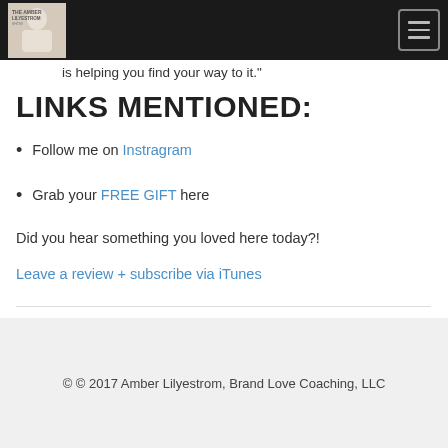is helping you find your way to it."
LINKS MENTIONED:
Follow me on Instragram
Grab your FREE GIFT here
Did you hear something you loved here today?!
Leave a review + subscribe via iTunes
© © 2017 Amber Lilyestrom, Brand Love Coaching, LLC